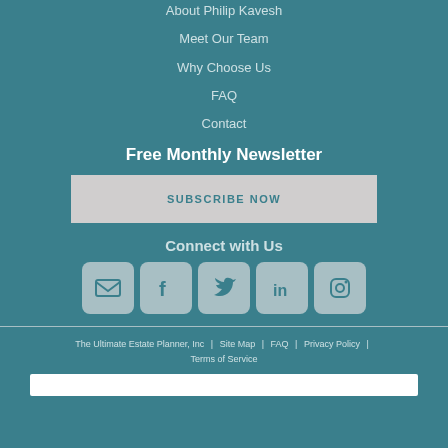About Philip Kavesh
Meet Our Team
Why Choose Us
FAQ
Contact
Free Monthly Newsletter
SUBSCRIBE NOW
Connect with Us
[Figure (infographic): Social media icons: email, Facebook, Twitter, LinkedIn, Instagram]
The Ultimate Estate Planner, Inc  |  Site Map  |  FAQ  |  Privacy Policy  |  Terms of Service